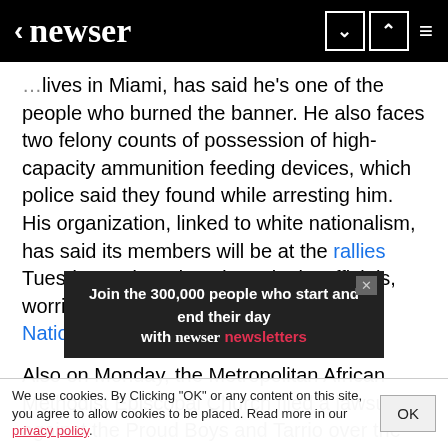< newser
lives in Miami, has said he's one of the people who burned the banner. He also faces two felony counts of possession of high-capacity ammunition feeding devices, which police said they found while arresting him. His organization, linked to white nationalism, has said its members will be at the rallies Tuesday and Wednesday. District officials, worried about violence, said Monday the National Guard will help with the crowds.
Also on Monday, the Metropolitan African Methodist Episcopal Church filed a lawsuit against the Proud Boys and Tarrio over the destruction of the BLM banner. The suit says they we[re]...church property...nce its support for racial justice," per NBC. The suit listed social media posts...ing members to "buy ammo," "clea[r your]
[Figure (screenshot): Advertisement banner: 'Join the 300,000 people who start and end their day with newser newsletters']
We use cookies. By Clicking "OK" or any content on this site, you agree to allow cookies to be placed. Read more in our privacy policy.